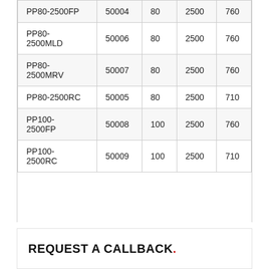| PP80-2500FP | 50004 | 80 | 2500 | 760 |
| PP80-2500MLD | 50006 | 80 | 2500 | 760 |
| PP80-2500MRV | 50007 | 80 | 2500 | 760 |
| PP80-2500RC | 50005 | 80 | 2500 | 710 |
| PP100-2500FP | 50008 | 100 | 2500 | 760 |
| PP100-2500RC | 50009 | 100 | 2500 | 710 |
REQUEST A CALLBACK.